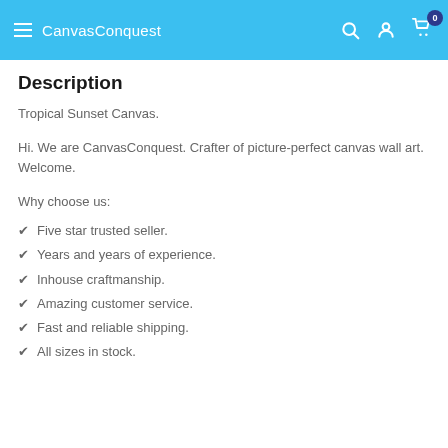CanvasConquest
Description
Tropical Sunset Canvas.
Hi. We are CanvasConquest. Crafter of picture-perfect canvas wall art. Welcome.
Why choose us:
Five star trusted seller.
Years and years of experience.
Inhouse craftmanship.
Amazing customer service.
Fast and reliable shipping.
All sizes in stock.